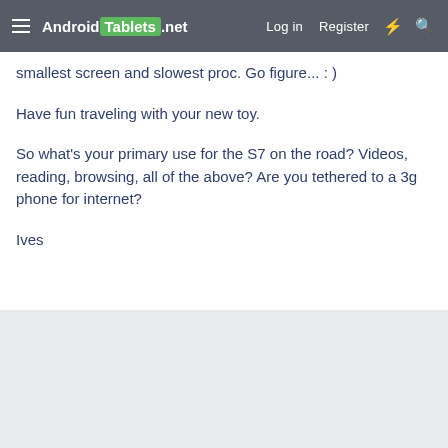Android Tablets .net  Log in  Register
smallest screen and slowest proc. Go figure... : )
Have fun traveling with your new toy.
So what's your primary use for the S7 on the road? Videos, reading, browsing, all of the above? Are you tethered to a 3g phone for internet?
Ives